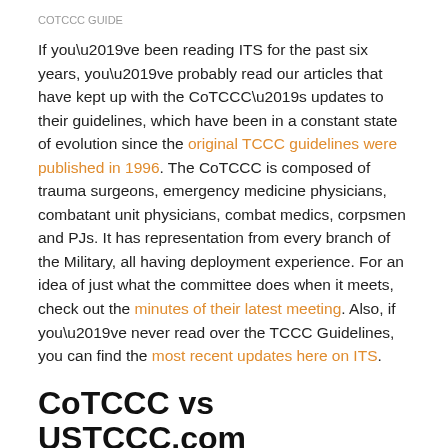COTCCC GUIDE
If you’ve been reading ITS for the past six years, you’ve probably read our articles that have kept up with the CoTCCC’s updates to their guidelines, which have been in a constant state of evolution since the original TCCC guidelines were published in 1996. The CoTCCC is composed of trauma surgeons, emergency medicine physicians, combatant unit physicians, combat medics, corpsmen and PJs. It has representation from every branch of the Military, all having deployment experience. For an idea of just what the committee does when it meets, check out the minutes of their latest meeting. Also, if you’ve never read over the TCCC Guidelines, you can find the most recent updates here on ITS.
CoTCCC vs USTCCC.com
Now that you’re up to speed on what the CoTCCC is and